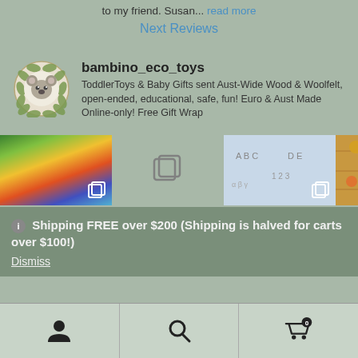to my friend. Susan... read more
Next Reviews
bambino_eco_toys
ToddlerToys & Baby Gifts sent Aust-Wide Wood & Woolfelt, open-ended, educational, safe, fun! Euro & Aust Made Online-only! Free Gift Wrap
[Figure (screenshot): Instagram-style profile with logo of bambino_eco_toys (koala in wreath), username, description, and three product image thumbnails with multi-image icons]
Shipping FREE over $200 (Shipping is halved for carts over $100!)
Dismiss
[Figure (infographic): Bottom navigation bar with user/account icon, search icon, and shopping cart icon with badge showing 0]